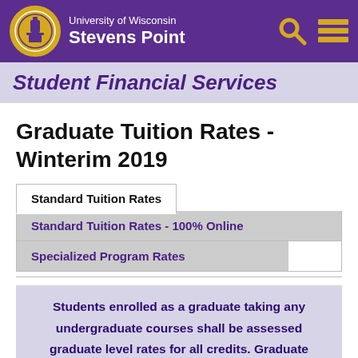[Figure (logo): University of Wisconsin Stevens Point header with purple background, circular gold seal logo, white text showing university name, and gold search/menu icons]
Student Financial Services
Graduate Tuition Rates - Winterim 2019
Standard Tuition Rates
Standard Tuition Rates - 100% Online
Specialized Program Rates
Students enrolled as a graduate taking any undergraduate courses shall be assessed graduate level rates for all credits. Graduate